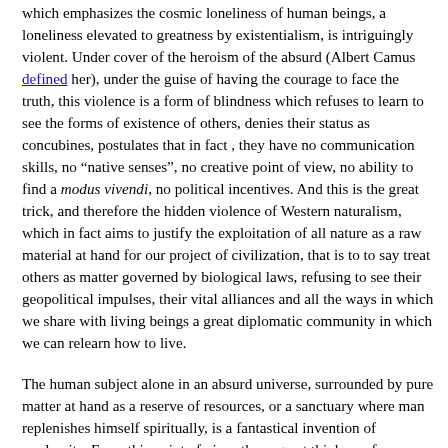which emphasizes the cosmic loneliness of human beings, a loneliness elevated to greatness by existentialism, is intriguingly violent. Under cover of the heroism of the absurd (Albert Camus defined her), under the guise of having the courage to face the truth, this violence is a form of blindness which refuses to learn to see the forms of existence of others, denies their status as concubines, postulates that in fact , they have no communication skills, no “native senses”, no creative point of view, no ability to find a modus vivendi, no political incentives. And this is the great trick, and therefore the hidden violence of Western naturalism, which in fact aims to justify the exploitation of all nature as a raw material at hand for our project of civilization, that is to to say treat others as matter governed by biological laws, refusing to see their geopolitical impulses, their vital alliances and all the ways in which we share with living beings a great diplomatic community in which we can relearn how to live.
The human subject alone in an absurd universe, surrounded by pure matter at hand as a reserve of resources, or a sanctuary where man replenishes himself spiritually, is a fantastical invention of modernity. From this point of view, those great thinkers of emancipation, Sartre and Camus, who probably infused their ideas deeply into the French tradition, are the objective allies of extractivism and the ecological crisis. It is interesting to reinterpret these discourses of emancipation as vectors of great violence. Yet it